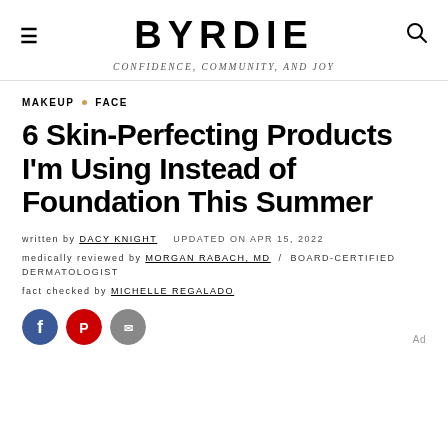BYRDIE / CONFIDENCE, COMMUNITY, AND JOY
MAKEUP • FACE
6 Skin-Perfecting Products I'm Using Instead of Foundation This Summer
written by DACY KNIGHT   UPDATED ON APR 15, 2022
medically reviewed by MORGAN RABACH, MD / BOARD-CERTIFIED DERMATOLOGIST
fact checked by MICHELLE REGALADO